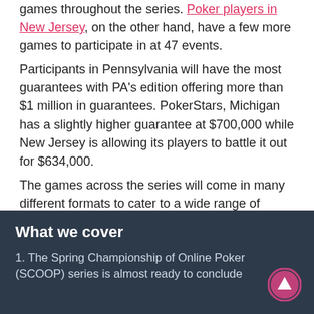games throughout the series. Poker players in New Jersey, on the other hand, have a few more games to participate in at 47 events.
Participants in Pennsylvania will have the most guarantees with PA's edition offering more than $1 million in guarantees. PokerStars, Michigan has a slightly higher guarantee at $700,000 while New Jersey is allowing its players to battle it out for $634,000.
The games across the series will come in many different formats to cater to a wide range of interests and appetites. Some of the varieties that will be on offer include Win the Button PKO, Last Man Standing, Bounty Adrenaline, Total Knockout, as well as Mini Bounties. Each state will also have 2 Main Events.
What we cover
1. The Spring Championship of Online Poker (SCOOP) series is almost ready to conclude